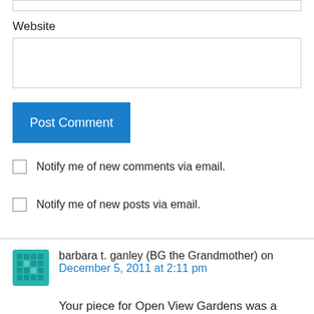Website
Post Comment
Notify me of new comments via email.
Notify me of new posts via email.
barbara t. ganley (BG the Grandmother) on December 5, 2011 at 2:11 pm
Your piece for Open View Gardens was a good read and your observation of how preparing food can bring people together was excellent. After